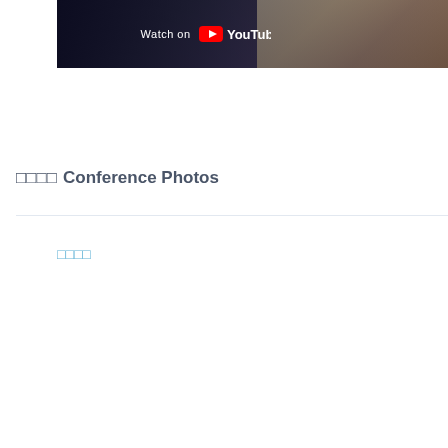[Figure (screenshot): YouTube video thumbnail showing a conference scene with audience members seated in a lecture hall. A 'Watch on YouTube' overlay with YouTube logo is visible on the left portion of the image.]
🎫🎫🎫🎫 Conference Photos
🎫🎫🎫🎫